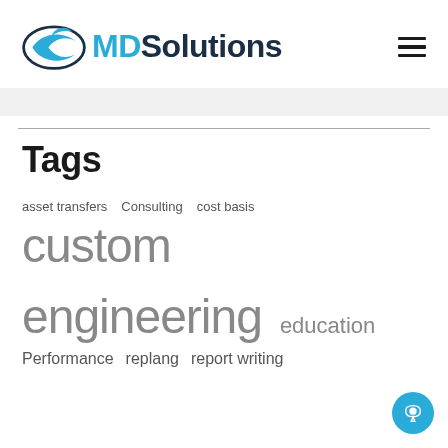[Figure (logo): MDSolutions logo with stylized fish/arrow icon and text]
Tags
asset transfers
Consulting
cost basis
custom
engineering
education
Performance
replang
report writing